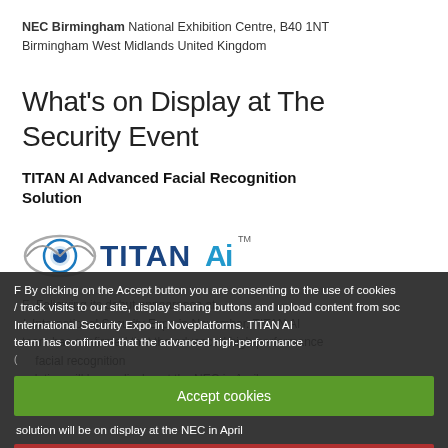NEC Birmingham National Exhibition Centre, B40 1NT Birmingham West Midlands United Kingdom
What's on Display at The Security Event
TITAN AI Advanced Facial Recognition Solution
[Figure (logo): TitanAI logo with eye icon and TITANAI text in blue and grey with TM mark]
Following its debut appearance at International Security Expo in November, TITAN AI team has confirmed that the advanced high-performance solution will be on display at the NEC in April
By clicking on the Accept button you are consenting to the use of cookies (track visits to our site, display sharing buttons and upload content from social platforms.
High Performance Multi-subject AFR